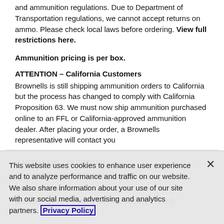and ammunition regulations. Due to Department of Transportation regulations, we cannot accept returns on ammo. Please check local laws before ordering. View full restrictions here.
Ammunition pricing is per box.
ATTENTION – California Customers
Brownells is still shipping ammunition orders to California but the process has changed to comply with California Proposition 63. We must now ship ammunition purchased online to an FFL or California-approved ammunition dealer. After placing your order, a Brownells representative will contact you
| CARTRIDGE : 38 SPECIAL |
| BULLET WEIGHT (GRAINS) : 130 |
| ROUNDS : 50 |
| BULLET STYLE : FULL METAL JACKET (FMJ) |
105-000-629WB
Mfr Part: 1E382521
This website uses cookies to enhance user experience and to analyze performance and traffic on our website. We also share information about your use of our site with our social media, advertising and analytics partners. Privacy Policy